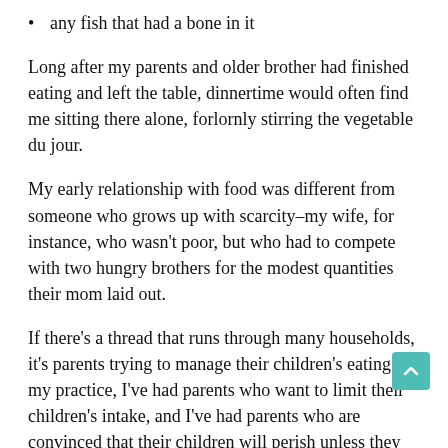any fish that had a bone in it
Long after my parents and older brother had finished eating and left the table, dinnertime would often find me sitting there alone, forlornly stirring the vegetable du jour.
My early relationship with food was different from someone who grows up with scarcity–my wife, for instance, who wasn't poor, but who had to compete with two hungry brothers for the modest quantities their mom laid out.
If there's a thread that runs through many households, it's parents trying to manage their children's eating. In my practice, I've had parents who want to limit their children's intake, and I've had parents who are convinced that their children will perish unless they stuff food into them.
With all parents, I share the advice that New York Times health and nutrition writer Jane Brody offers: The parent's job is to decide what gets served, and the child's job is to